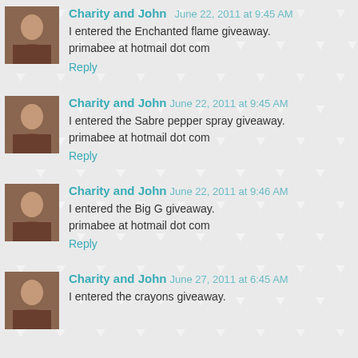Charity and John June 22, 2011 at 9:45 AM
I entered the Enchanted flame giveaway.
primabee at hotmail dot com
Reply
Charity and John June 22, 2011 at 9:45 AM
I entered the Sabre pepper spray giveaway.
primabee at hotmail dot com
Reply
Charity and John June 22, 2011 at 9:46 AM
I entered the Big G giveaway.
primabee at hotmail dot com
Reply
Charity and John June 27, 2011 at 6:45 AM
I entered the crayons giveaway.